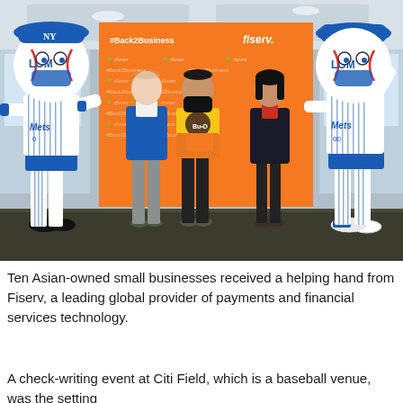[Figure (photo): Group photo at a Fiserv #Back2Business event. Two New York Mets mascots in pinstripe uniforms with 'LGM' and 'Mets' text and '00' jersey numbers flank three people standing in front of an orange Fiserv/Clover branded step-and-repeat backdrop. Center person wears a yellow shirt, left person wears a blue vest, right person wears a dark blazer.]
Ten Asian-owned small businesses received a helping hand from Fiserv, a leading global provider of payments and financial services technology.
A check-writing event at Citi Field, which is a baseball venue, was the setting...